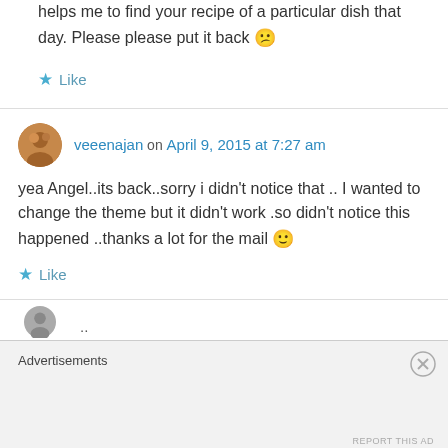helps me to find your recipe of a particular dish that day. Please please put it back 😕
★ Like
veeenajan on April 9, 2015 at 7:27 am
yea Angel..its back..sorry i didn't notice that .. I wanted to change the theme but it didn't work .so didn't notice this happened ..thanks a lot for the mail 🙂
★ Like
..
Advertisements
REPORT THIS AD